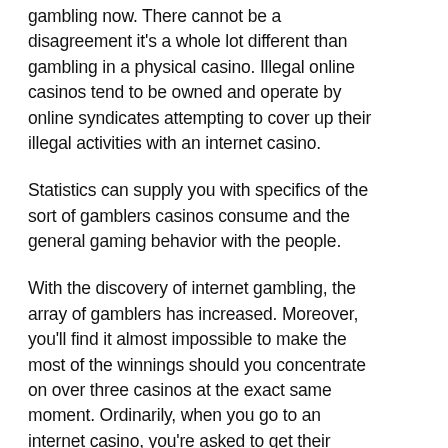gambling now. There cannot be a disagreement it's a whole lot different than gambling in a physical casino. Illegal online casinos tend to be owned and operate by online syndicates attempting to cover up their illegal activities with an internet casino.
Statistics can supply you with specifics of the sort of gamblers casinos consume and the general gaming behavior with the people.
With the discovery of internet gambling, the array of gamblers has increased. Moreover, you'll find it almost impossible to make the most of the winnings should you concentrate on over three casinos at the exact same moment. Ordinarily, when you go to an internet casino, you're asked to get their applications.
online gambling – the conspiracy